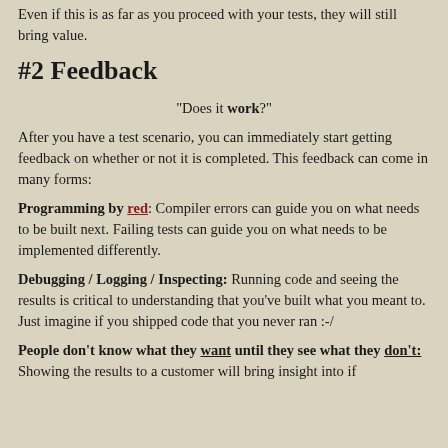Even if this is as far as you proceed with your tests, they will still bring value.
#2 Feedback
“Does it work?”
After you have a test scenario, you can immediately start getting feedback on whether or not it is completed. This feedback can come in many forms:
Programming by red: Compiler errors can guide you on what needs to be built next. Failing tests can guide you on what needs to be implemented differently.
Debugging / Logging / Inspecting: Running code and seeing the results is critical to understanding that you’ve built what you meant to. Just imagine if you shipped code that you never ran :-/
People don’t know what they want until they see what they don’t: Showing the results to a customer will bring insight into if